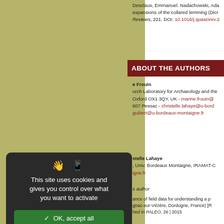Desclaux, Emmanuel. Nadachowski, Ada... expansions of the collared lemming (Dicro... Reviews, 221. DOI: 10.1016/j.quascirev.2...
ABOUT THE AUTHORS
e Frouin
urch Laboratory for Archaeology and the Oxford OX1 3QY, UK - marine.frouin@... 607 Pessac - christelle.lahaye@u-bord... guibert@u-bordeaux-montaigne.fr
stelle Lahaye
, Univ. Bordeaux Montaigne, IRAMAT-C... igne.fr
s author
ance of field data for understanding a p... gnac-sur-Vézère, Dordogne, France) [R... hed in PALEO, 26 | 2015
ance des données de terrain pour la co... gourdou 1 (Montignac-sur-Vézère, Dor... hed in PALEO, 26 | 2015
This site uses cookies and gives you control over what you want to activate
✓ OK, accept all
✗ Deny all cookies
Personalize
Privacy policy